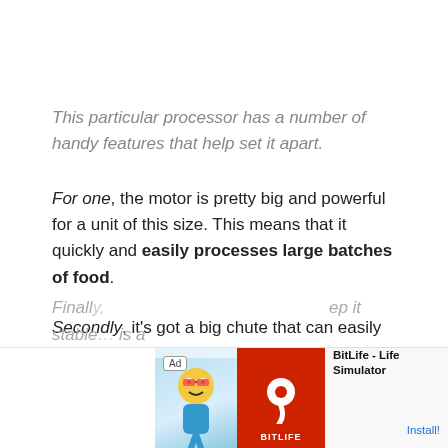This particular processor has a number of handy features that help set it apart.
For one, the motor is pretty big and powerful for a unit of this size. This means that it quickly and easily processes large batches of food.
Secondly, it’s got a big chute that can easily accommodate large chunks of onion, cheese, and other foods. Easy loading will definitely cut down on the time you spend prepping food.
Finally, … ep it stable… is a
[Figure (screenshot): Advertisement banner for BitLife - Life Simulator app with Ad label, cartoon character, red box with sperm icon, app name and Install button]